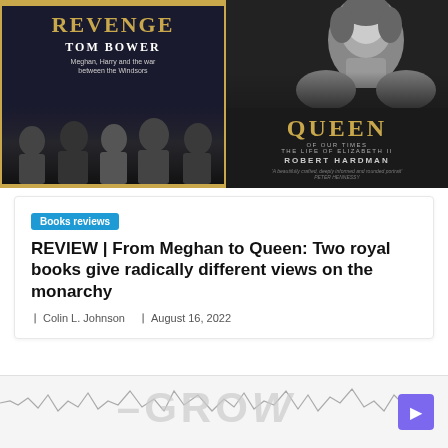[Figure (photo): Two book covers side by side: left is 'Revenge' by Tom Bower with subtitle 'Meghan, Harry and the war between the Windsors', showing shadowy figures on a dark background with gold border; right is 'Queen of Our Times: The Life of Elizabeth II' by Robert Hardman, showing a black-and-white photo of a young Queen Elizabeth II on a dark background with gold text.]
Books reviews
REVIEW | From Meghan to Queen: Two royal books give radically different views on the monarchy
Colin L. Johnson   August 16, 2022
[Figure (photo): Partial view of another article preview at the bottom showing a wavy line chart on a light background with the text 'GROW' partially visible, and a purple button on the right.]